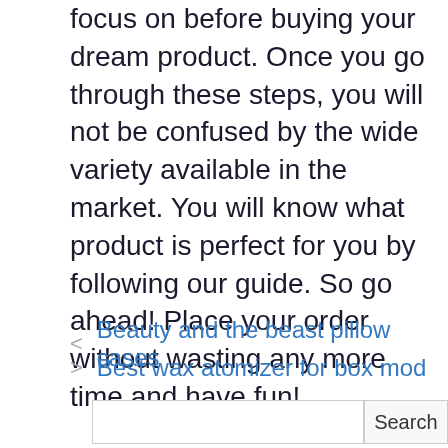focus on before buying your dream product. Once you go through these steps, you will not be confused by the wide variety available in the market. You will know what product is perfect for you by following our guide. So go ahead! Place your order without wasting any more time and have fun!
< Beauty and the beast pillow cases
> Best wax atomizer for box mod
Search